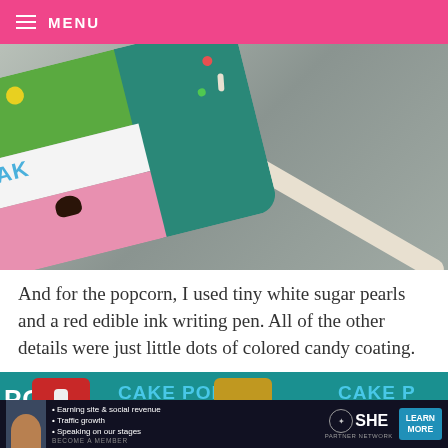MENU
[Figure (photo): Close-up photo of a decorated cake pop with green, white, pink, and teal sections featuring the word 'CAKE', an owl decoration, and a white stick, resting on a grey surface.]
And for the popcorn, I used tiny white sugar pearls and a red edible ink writing pen. All of the other details were just little dots of colored candy coating.
[Figure (photo): A row of colorful cake pops on sticks in a teal/green background, labeled with 'POPS', 'CAKE POPS', and 'CAKE P' text in white and blue, with a close-up dismiss button 'X' on the right.]
[Figure (infographic): Advertisement banner for SHE Partner Network showing a woman, bullet points: Earning site & social revenue, Traffic growth, Speaking on our stages, with SHE logo and a LEARN MORE button.]